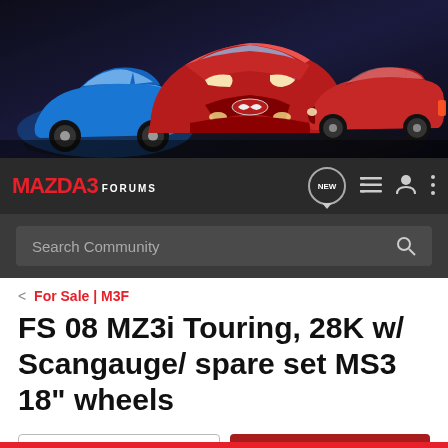[Figure (photo): Banner showing three Mazda3 cars - a blue hatchback on the left, a red sedan in the center front, and a red hatchback on the right, against a dark background]
[Figure (logo): Mazda3 Forums logo - red stylized MAZDA3 text with FORUMS in white on dark navigation bar]
Search Community
< For Sale | M3F
FS 08 MZ3i Touring, 28K w/ Scangauge/ spare set MS3 18" wheels
→ Jump to Latest
+ Follow